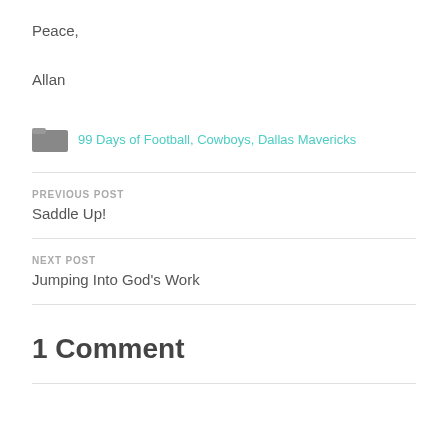Peace,
Allan
99 Days of Football, Cowboys, Dallas Mavericks
PREVIOUS POST
Saddle Up!
NEXT POST
Jumping Into God's Work
1 Comment